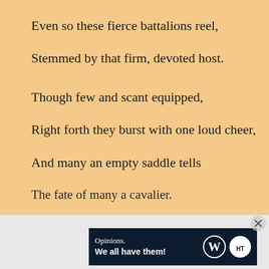Even so these fierce battalions reel,
Stemmed by that firm, devoted host.
Though few and scant equipped,
Right forth they burst with one loud cheer,
And many an empty saddle tells
The fate of many a cavalier.
Advertisements
[Figure (other): Advertisement banner: 'Opinions. We all have them!' with WordPress and HT logos on dark navy background]